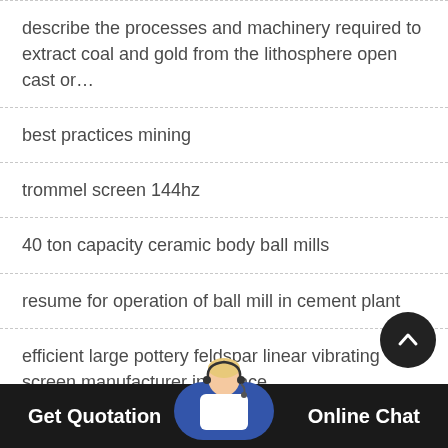describe the processes and machinery required to extract coal and gold from the lithosphere open cast or…
best practices mining
trommel screen 144hz
40 ton capacity ceramic body ball mills
resume for operation of ball mill in cement plant
efficient large pottery feldspar linear vibrating screen manufacturer in France
iron ore beneficiation plant gandhigram sihora
Get Quotation    Online Chat